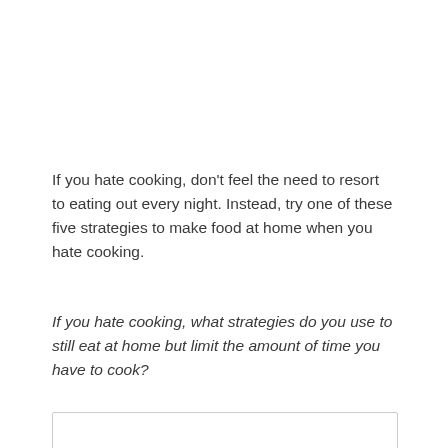If you hate cooking, don't feel the need to resort to eating out every night. Instead, try one of these five strategies to make food at home when you hate cooking.
If you hate cooking, what strategies do you use to still eat at home but limit the amount of time you have to cook?